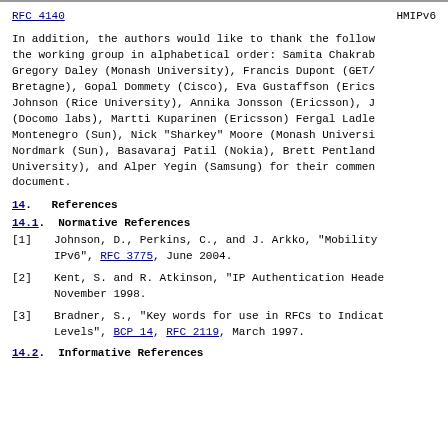RFC 4140    HMIPv6
In addition, the authors would like to thank the follow the working group in alphabetical order: Samita Chakrab Gregory Daley (Monash University), Francis Dupont (GET/ Bretagne), Gopal Dommety (Cisco), Eva Gustaffson (Erics Johnson (Rice University), Annika Jonsson (Ericsson), J (Docomo labs), Martti Kuparinen (Ericsson) Fergal Ladle Montenegro (Sun), Nick "Sharkey" Moore (Monash Universi Nordmark (Sun), Basavaraj Patil (Nokia), Brett Pentland University), and Alper Yegin (Samsung) for their commen document.
14.   References
14.1.  Normative References
[1]   Johnson, D., Perkins, C., and J. Arkko, "Mobility IPv6", RFC 3775, June 2004.
[2]   Kent, S. and R. Atkinson, "IP Authentication Heade November 1998.
[3]   Bradner, S., "Key words for use in RFCs to Indicat Levels", BCP 14, RFC 2119, March 1997.
14.2.  Informative References